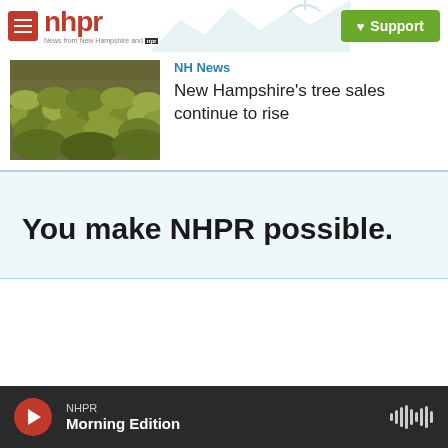nhpr - News from New Hampshire and NPR | Support
[Figure (photo): Close-up photo of green and yellow mossy or bushy vegetation]
NH News
New Hampshire's tree sales continue to rise
You make NHPR possible.
NHPR Morning Edition